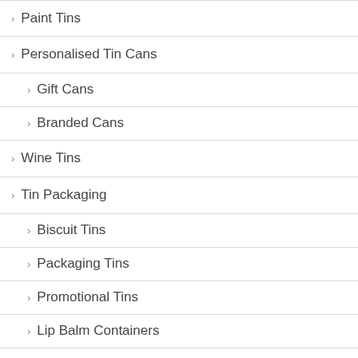> Paint Tins
> Personalised Tin Cans
> Gift Cans
> Branded Cans
> Wine Tins
> Tin Packaging
> Biscuit Tins
> Packaging Tins
> Promotional Tins
> Lip Balm Containers